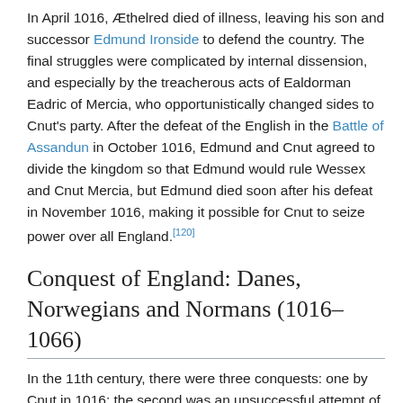In April 1016, Æthelred died of illness, leaving his son and successor Edmund Ironside to defend the country. The final struggles were complicated by internal dissension, and especially by the treacherous acts of Ealdorman Eadric of Mercia, who opportunistically changed sides to Cnut's party. After the defeat of the English in the Battle of Assandun in October 1016, Edmund and Cnut agreed to divide the kingdom so that Edmund would rule Wessex and Cnut Mercia, but Edmund died soon after his defeat in November 1016, making it possible for Cnut to seize power over all England.[120]
Conquest of England: Danes, Norwegians and Normans (1016–1066)
In the 11th century, there were three conquests: one by Cnut in 1016; the second was an unsuccessful attempt of Battle of Stamford Bridge in 1066; and the third was